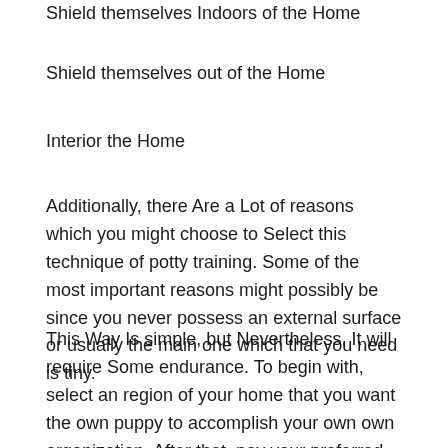Shield themselves Indoors of the Home
Shield themselves out of the Home
Interior the Home
Additionally, there Are a Lot of reasons which you might choose to Select this technique of potty training. Some of the most important reasons might possibly be since you never possess an external surface or usually the main one which that you need is tiny.
This Way Is simple, but Nevertheless, It will require Some endurance. To begin with, select an region of your home that you want the own puppy to accomplish your own own organization. After that, pay your preferred spot in urine pads. If not called potty pads, all these really are sheets which can